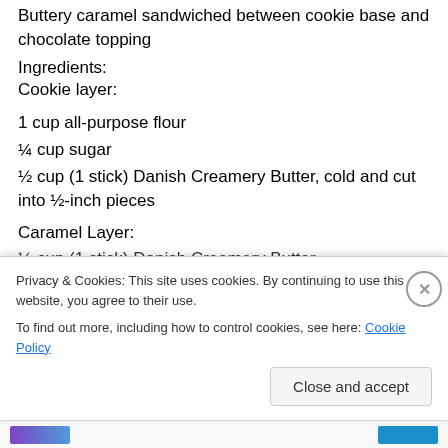Buttery caramel sandwiched between cookie base and chocolate topping
Ingredients:
Cookie layer:
1 cup all-purpose flour
¼ cup sugar
½ cup (1 stick) Danish Creamery Butter, cold and cut into ½-inch pieces
Caramel Layer:
½ cup (1 stick) Danish Creamery Butter
[Figure (screenshot): Cookie consent popup overlay: 'Privacy & Cookies: This site uses cookies. By continuing to use this website, you agree to their use. To find out more, including how to control cookies, see here: Cookie Policy' with a 'Close and accept' button.]